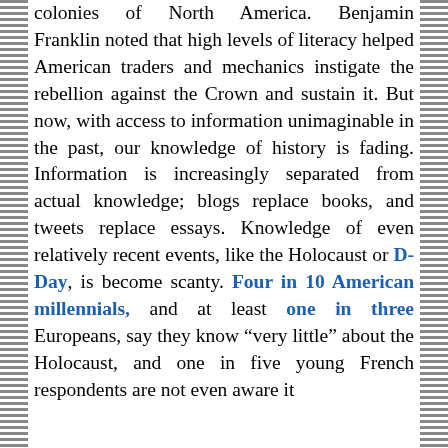colonies of North America. Benjamin Franklin noted that high levels of literacy helped American traders and mechanics instigate the rebellion against the Crown and sustain it. But now, with access to information unimaginable in the past, our knowledge of history is fading. Information is increasingly separated from actual knowledge; blogs replace books, and tweets replace essays. Knowledge of even relatively recent events, like the Holocaust or D-Day, is become scanty. Four in 10 American millennials, and at least one in three Europeans, say they know "very little" about the Holocaust, and one in five young French respondents are not even aware it